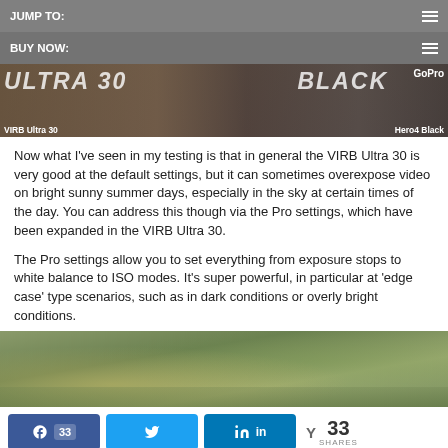JUMP TO:
BUY NOW:
[Figure (photo): Side-by-side banner image comparing VIRB Ultra 30 and GoPro Hero4 Black cameras]
Now what I've seen in my testing is that in general the VIRB Ultra 30 is very good at the default settings, but it can sometimes overexpose video on bright sunny summer days, especially in the sky at certain times of the day.  You can address this though via the Pro settings, which have been expanded in the VIRB Ultra 30.
The Pro settings allow you to set everything from exposure stops to white balance to ISO modes.  It's super powerful, in particular at 'edge case' type scenarios, such as in dark conditions or overly bright conditions.
[Figure (photo): Photo of mossy rocks and driftwood outdoors]
33 SHARES with Facebook, Twitter, LinkedIn social share buttons